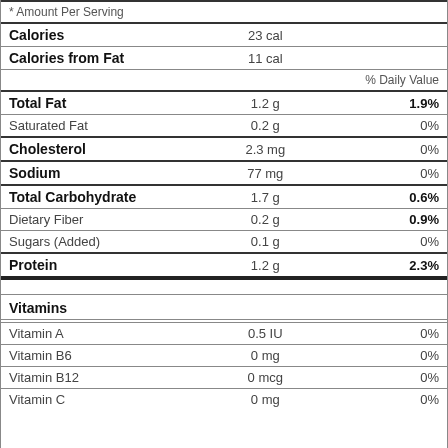| Nutrient | Amount | % Daily Value |
| --- | --- | --- |
| * Amount Per Serving |  |  |
| Calories | 23 cal |  |
| Calories from Fat | 11 cal |  |
|  |  | % Daily Value |
| Total Fat | 1.2 g | 1.9% |
| Saturated Fat | 0.2 g | 0% |
| Cholesterol | 2.3 mg | 0% |
| Sodium | 77 mg | 0% |
| Total Carbohydrate | 1.7 g | 0.6% |
| Dietary Fiber | 0.2 g | 0.9% |
| Sugars (Added) | 0.1 g | 0% |
| Protein | 1.2 g | 2.3% |
| Vitamins |  |  |
| Vitamin A | 0.5 IU | 0% |
| Vitamin B6 | 0 mg | 0% |
| Vitamin B12 | 0 mcg | 0% |
| Vitamin C | 0 mg | 0% |